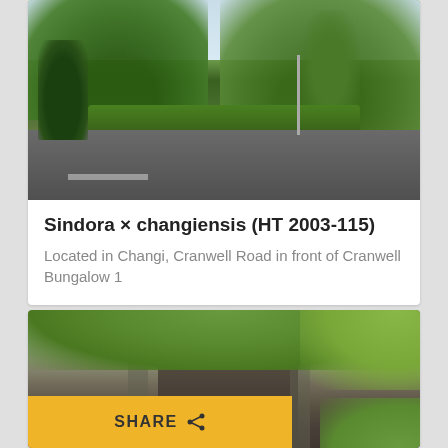[Figure (photo): Outdoor photo of a tree-lined road in Changi, Singapore. Lush green trees with a road and hedge visible, bright daylight.]
Sindora × changiensis (HT 2003-115)
Located in Changi, Cranwell Road in front of Cranwell Bungalow 1
[Figure (photo): Close-up photo of a large tree trunk with gnarled bark and green foliage visible around it.]
SHARE